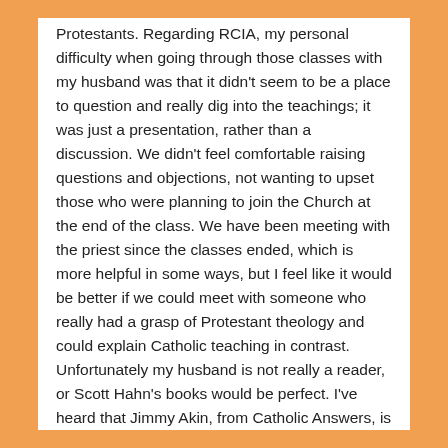Protestants. Regarding RCIA, my personal difficulty when going through those classes with my husband was that it didn't seem to be a place to question and really dig into the teachings; it was just a presentation, rather than a discussion. We didn't feel comfortable raising questions and objections, not wanting to upset those who were planning to join the Church at the end of the class. We have been meeting with the priest since the classes ended, which is more helpful in some ways, but I feel like it would be better if we could meet with someone who really had a grasp of Protestant theology and could explain Catholic teaching in contrast. Unfortunately my husband is not really a reader, or Scott Hahn's books would be perfect. I've heard that Jimmy Akin, from Catholic Answers, is also very good, and recently ordered his new book The Salvation Controversy, which I'm looking forward to reading. Thanks for this post! It has been a long process for us, and